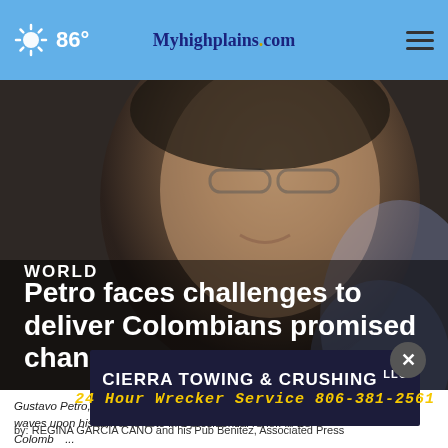86° Myhighplains.com
[Figure (photo): Close-up photo of a man smiling, blurred background, dark tones]
WORLD
Petro faces challenges to deliver Colombians promised change
Gustavo Petro, presidential candidate with the Historical Pact coalition, waves upon his arrival to vote in a presidential runoff in Bogota, Colombia... Read M...
by: REGINA GARCIA CANO and his Pub Benitez, Associated Press